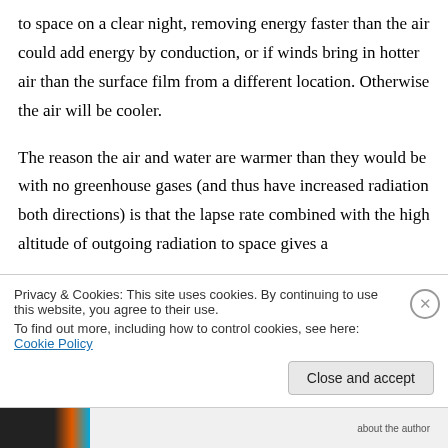to space on a clear night, removing energy faster than the air could add energy by conduction, or if winds bring in hotter air than the surface film from a different location. Otherwise the air will be cooler.
The reason the air and water are warmer than they would be with no greenhouse gases (and thus have increased radiation both directions) is that the lapse rate combined with the high altitude of outgoing radiation to space gives a
Privacy & Cookies: This site uses cookies. By continuing to use this website, you agree to their use.
To find out more, including how to control cookies, see here: Cookie Policy